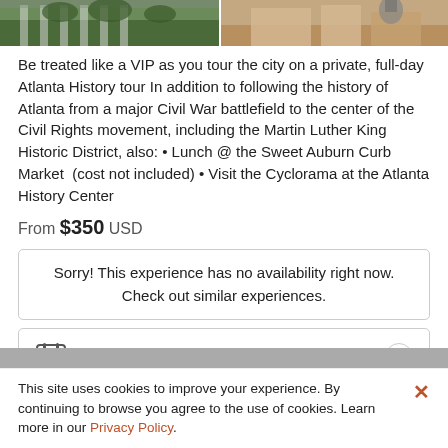[Figure (photo): Two side-by-side cropped photos at the top: left shows a columned building with trees, right shows a building facade with a sculpture.]
Be treated like a VIP as you tour the city on a private, full-day Atlanta History tour In addition to following the history of Atlanta from a major Civil War battlefield to the center of the Civil Rights movement, including the Martin Luther King Historic District, also: • Lunch @ the Sweet Auburn Curb Market  (cost not included) • Visit the Cyclorama at the Atlanta History Center
From $350 USD
Sorry! This experience has no availability right now. Check out similar experiences.
Select Date
This site uses cookies to improve your experience. By continuing to browse you agree to the use of cookies. Learn more in our Privacy Policy.